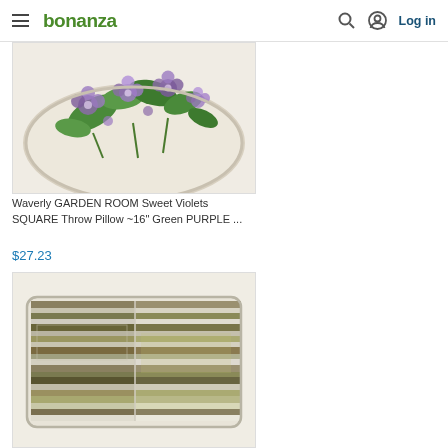bonanza — Log in
[Figure (photo): Waverly GARDEN ROOM Sweet Violets floral throw pillow with purple/violet flowers and green leaves on cream background, partially cropped]
Waverly GARDEN ROOM Sweet Violets SQUARE Throw Pillow ~16" Green PURPLE ...
$27.23
[Figure (photo): Rectangular throw pillow with horizontal striped patchwork pattern in olive green, khaki, brown, white, and grey tones]